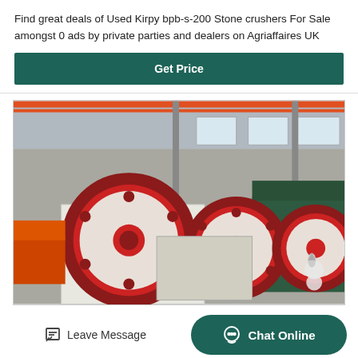Find great deals of Used Kirpy bpb-s-200 Stone crushers For Sale amongst 0 ads by private parties and dealers on Agriaffaires UK
Get Price
[Figure (photo): Industrial stone crusher machines with large red and white flywheels in a factory/warehouse setting. Multiple jaw crusher units visible in a row.]
Leave Message
Chat Online